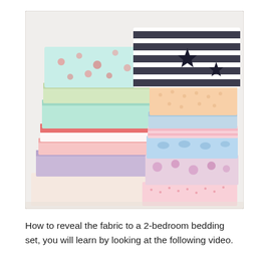[Figure (photo): A stack of neatly folded fabric pieces in various patterns and colors including floral prints, stripes with black stars, mint green, pink, lavender, peach/orange, light blue, and white. The fabrics are arranged in two stacked piles side by side.]
How to reveal the fabric to a 2-bedroom bedding set, you will learn by looking at the following video.